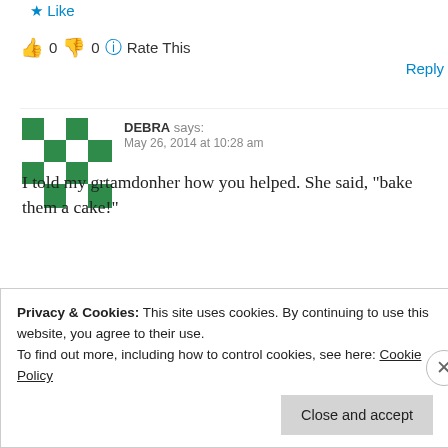★ Like
👍 0 👎 0 ℹ Rate This
Reply
[Figure (illustration): Green geometric quilt-pattern avatar for user DEBRA]
DEBRA says: May 26, 2014 at 10:28 am
I told my grtamdonher how you helped. She said, "bake them a cake!"
★ Like
👍 0 👎 0 ℹ Rate This
Privacy & Cookies: This site uses cookies. By continuing to use this website, you agree to their use. To find out more, including how to control cookies, see here: Cookie Policy
Close and accept